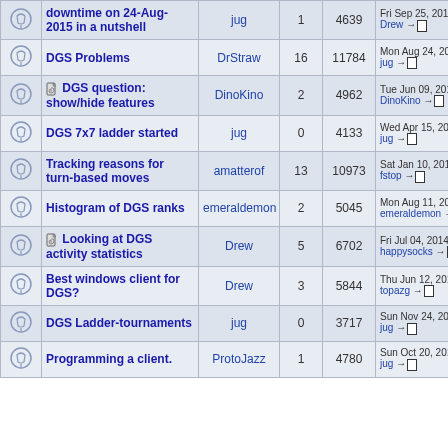|  | Topic | Author | Replies | Views | Last Post |
| --- | --- | --- | --- | --- | --- |
|  | downtime on 24-Aug-2015 in a nutshell | jug | 1 | 4639 | Fri Sep 25, 2015 10:... Drew →□ |
|  | DGS Problems | DrStraw | 16 | 11784 | Mon Aug 24, 2015 4:... jug →□ |
| 📎 | DGS question: show/hide features | DinoKino | 2 | 4962 | Tue Jun 09, 2015 2:... DinoKino →□ |
|  | DGS 7x7 ladder started | jug | 0 | 4133 | Wed Apr 15, 2015 2:... jug →□ |
|  | Tracking reasons for turn-based moves | amatterof | 13 | 10973 | Sat Jan 10, 2015 1:... fstop →□ |
|  | Histogram of DGS ranks | emeraldemon | 2 | 5045 | Mon Aug 11, 2014 1:... emeraldemon → |
| 📎 | Looking at DGS activity statistics | Drew | 5 | 6702 | Fri Jul 04, 2014 11:3... happysocks →□ |
|  | Best windows client for DGS? | Drew | 3 | 5844 | Thu Jun 12, 2014 5:... topazg →□ |
|  | DGS Ladder-tournaments | jug | 0 | 3717 | Sun Nov 24, 2013 10... jug →□ |
|  | Programming a client. | ProtoJazz | 1 | 4780 | Sun Oct 20, 2013 6:... jug →□ |